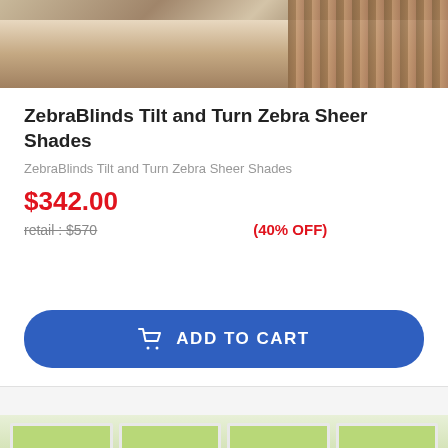[Figure (photo): Top portion of a room interior photo showing a modern living space with hardwood floors and a stone/brick wall feature]
ZebraBlinds Tilt and Turn Zebra Sheer Shades
ZebraBlinds Tilt and Turn Zebra Sheer Shades
$342.00
retail : $570  (40% OFF)
[Figure (screenshot): Add to Cart button — blue rounded rectangle with shopping cart icon]
[Figure (photo): Bottom portion showing a room with green cellular/honeycomb window shades on multiple windows]
Save an additional 25% off when you add to cart